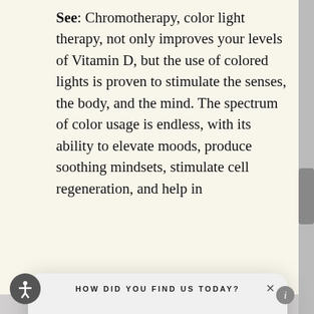See: Chromotherapy, color light therapy, not only improves your levels of Vitamin D, but the use of colored lights is proven to stimulate the senses, the body, and the mind. The spectrum of color usage is endless, with its ability to elevate moods, produce soothing mindsets, stimulate cell regeneration, and help in
HOW DID YOU FIND US TODAY?
Friend/Family Referral
Internet Search
Newspaper Ad
Other (please specify)
SUBMIT